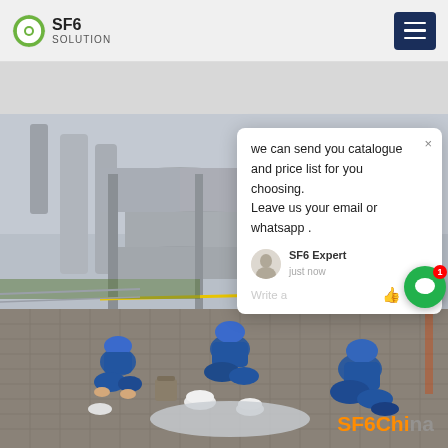SF6 SOLUTION
[Figure (photo): Workers in blue protective suits and helmets performing maintenance on SF6 electrical equipment at an outdoor substation. Large cylindrical SF6 gas-insulated switchgear visible in background. Three workers kneeling on tiled roof surface working with equipment components.]
we can send you catalogue and price list for you choosing. Leave us your email or whatsapp .
SF6 Expert   just now
Write a
SF6China